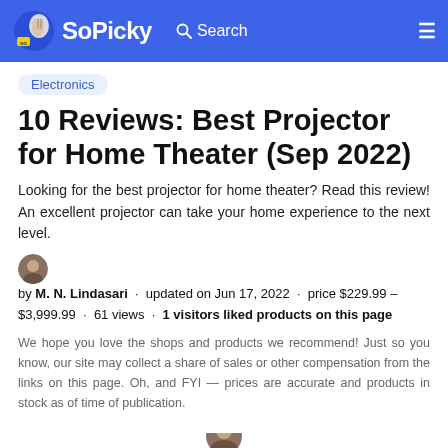SoPicky | Search
Electronics
10 Reviews: Best Projector for Home Theater (Sep 2022)
Looking for the best projector for home theater? Read this review! An excellent projector can take your home experience to the next level.
by M. N. Lindasari · updated on Jun 17, 2022 · price $229.99 – $3,999.99 · 61 views · 1 visitors liked products on this page
We hope you love the shops and products we recommend! Just so you know, our site may collect a share of sales or other compensation from the links on this page. Oh, and FYI — prices are accurate and products in stock as of time of publication.
[Figure (illustration): Partial bottom of a circular avatar or logo icon]